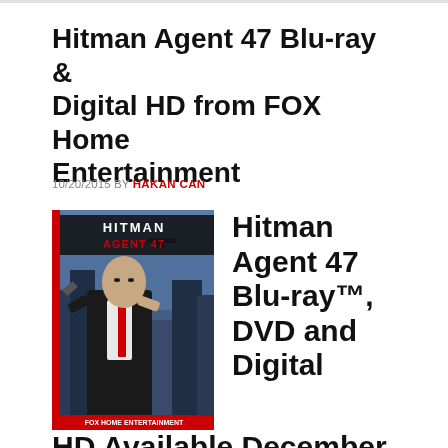Hitman Agent 47 Blu-ray & Digital HD from FOX Home Entertainment
10/20/2015 BY HAKAN CAN
[Figure (photo): Movie cover for Hitman Agent 47 Blu-ray showing a bald man in a suit holding guns with the title HITMAN AGENT 47 in red text on a dark background]
Hitman Agent 47 Blu-ray™, DVD and Digital HD Available December 29th